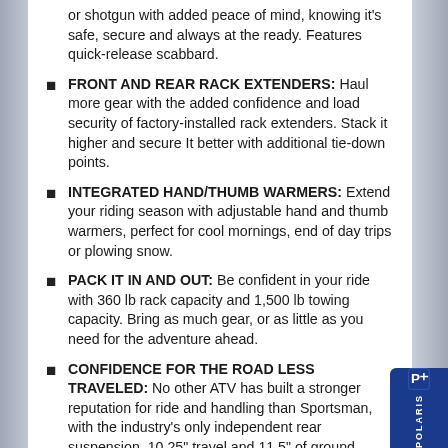or shotgun with added peace of mind, knowing it's safe, secure and always at the ready. Features quick-release scabbard.
FRONT AND REAR RACK EXTENDERS: Haul more gear with the added confidence and load security of factory-installed rack extenders. Stack it higher and secure It better with additional tie-down points.
INTEGRATED HAND/THUMB WARMERS: Extend your riding season with adjustable hand and thumb warmers, perfect for cool mornings, end of day trips or plowing snow.
PACK IT IN AND OUT: Be confident in your ride with 360 lb rack capacity and 1,500 lb towing capacity. Bring as much gear, or as little as you need for the adventure ahead.
CONFIDENCE FOR THE ROAD LESS TRAVELED: No other ATV has built a stronger reputation for ride and handling than Sportsman, with the industry's only independent rear suspension, 10.25" travel and 11.5" of ground clearance. With the new Ride Command Edition GPS & Group Ride capabilities, confidently take the trail less traveled knowing the way and that your crew is right behind you.
[Figure (logo): Polaris logo in blue box, bottom right corner]